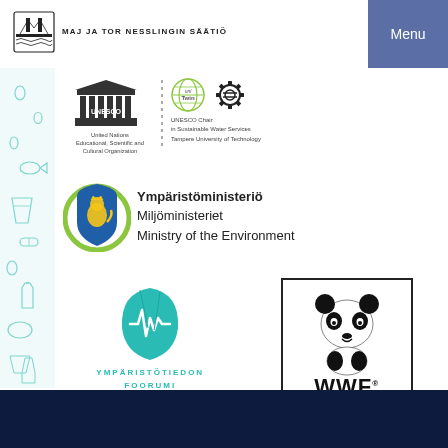[Figure (logo): Maj ja Tor Nesslingin Säätiö foundation logo with bridge icon and text]
[Figure (logo): Menu button in steel blue]
[Figure (logo): UNESCO logo with pillared building icon, United Nations Educational, Scientific and Cultural Organization text]
[Figure (logo): UniTwin globe logo and gear/cogwheel icon, UNESCO Chair in Sustainable Water Services Tampere University of Technology]
[Figure (logo): Finnish Ministry of the Environment logo — blue shield with lion, text Ympäristöministeriö / Miljöministeriet / Ministry of the Environment]
[Figure (logo): Ympäristötiedon Foorumi — teal leaf logo with heartbeat line]
[Figure (logo): WWF logo — panda in black border box with WWF text]